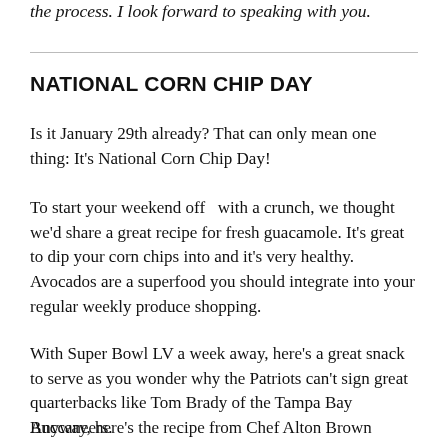the process. I look forward to speaking with you.
NATIONAL CORN CHIP DAY
Is it January 29th already? That can only mean one thing: It's National Corn Chip Day!
To start your weekend off  with a crunch, we thought we'd share a great recipe for fresh guacamole. It's great to dip your corn chips into and it's very healthy. Avocados are a superfood you should integrate into your regular weekly produce shopping.
With Super Bowl LV a week away, here's a great snack to serve as you wonder why the Patriots can't sign great quarterbacks like Tom Brady of the Tampa Bay Buccaneers.
Anyway, here's the recipe from Chef Alton Brown